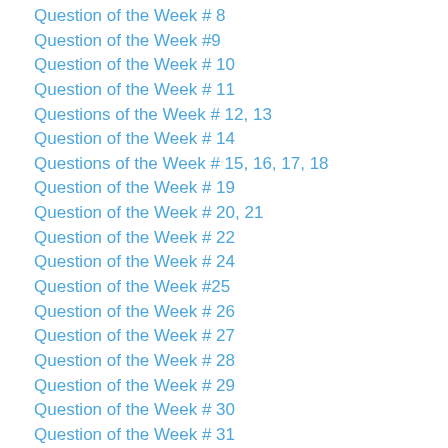Question of the Week # 8
Question of the Week #9
Question of the Week # 10
Question of the Week # 11
Questions of the Week # 12, 13
Question of the Week # 14
Questions of the Week # 15, 16, 17, 18
Question of the Week # 19
Question of the Week # 20, 21
Question of the Week # 22
Question of the Week # 24
Question of the Week #25
Question of the Week # 26
Question of the Week # 27
Question of the Week # 28
Question of the Week # 29
Question of the Week # 30
Question of the Week # 31
Question of the Week # 32
Question of the Week # 33